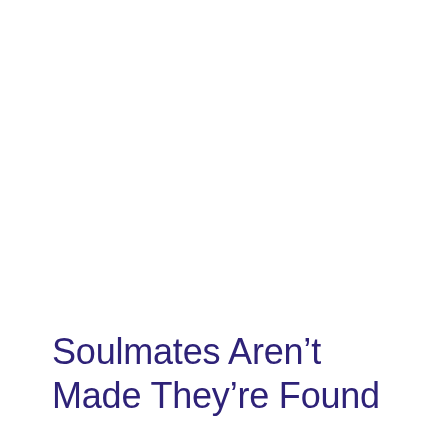Soulmates Aren’t Made They’re Found